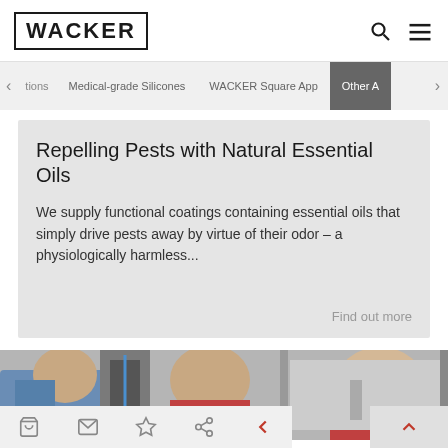WACKER
tions | Medical-grade Silicones | WACKER Square App | Other A
Repelling Pests with Natural Essential Oils
We supply functional coatings containing essential oils that simply drive pests away by virtue of their odor – a physiologically harmless...
Find out more
[Figure (photo): Laboratory scene with three people in work attire bending over equipment, one wearing red jacket]
Navigation toolbar icons: cart, mail, star, share, back arrow, up arrow